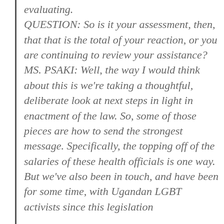evaluating. QUESTION: So is it your assessment, then, that that is the total of your reaction, or you are continuing to review your assistance? MS. PSAKI: Well, the way I would think about this is we're taking a thoughtful, deliberate look at next steps in light in enactment of the law. So, some of those pieces are how to send the strongest message. Specifically, the topping off of the salaries of these health officials is one way. But we've also been in touch, and have been for some time, with Ugandan LGBT activists since this legislation